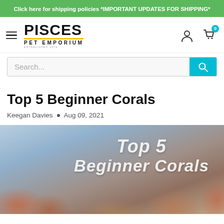Click here for shipping policies *IMPORTANT UPDATES FOR SHIPPING*
[Figure (logo): Pisces Pet Emporium logo with hamburger menu, user icon, and cart icon showing 0 items]
Search...
Top 5 Beginner Corals
Keegan Davies • Aug 09, 2021
[Figure (photo): Hero image of coral reef with overlaid text reading 'Top 5 Beginner Corals' in white bold italic font]